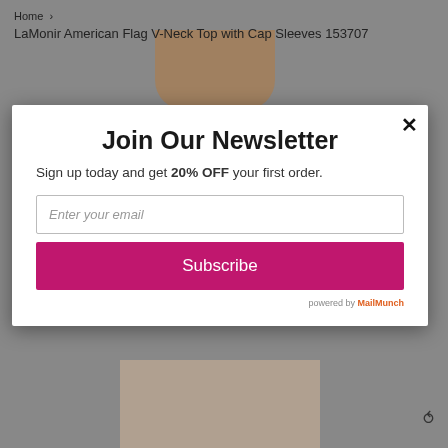Home  ›
LaMonir American Flag V-Neck Top with Cap Sleeves 153707
[Figure (screenshot): Newsletter signup modal popup. Title: Join Our Newsletter. Subtitle: Sign up today and get 20% OFF your first order. Email input field with placeholder 'Enter your email'. Pink Subscribe button. Powered by MailMunch. Close X button top right.]
Join Our Newsletter
Sign up today and get 20% OFF your first order.
Enter your email
Subscribe
powered by MailMunch